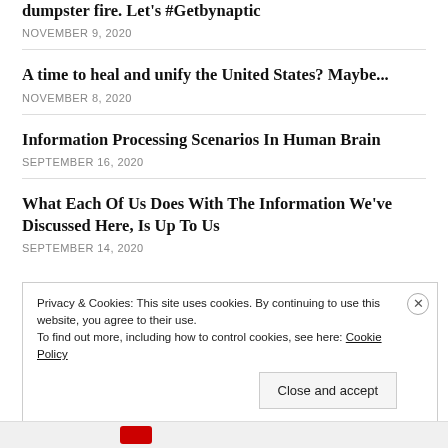dumpster fire. Let’s #Getbynaptic
NOVEMBER 9, 2020
A time to heal and unify the United States? Maybe...
NOVEMBER 8, 2020
Information Processing Scenarios In Human Brain
SEPTEMBER 16, 2020
What Each Of Us Does With The Information We’ve Discussed Here, Is Up To Us
SEPTEMBER 14, 2020
Privacy & Cookies: This site uses cookies. By continuing to use this website, you agree to their use.
To find out more, including how to control cookies, see here: Cookie Policy
Close and accept